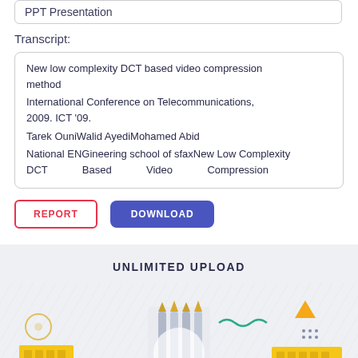PPT Presentation
Transcript:
New low complexity DCT based video compression method
International Conference on Telecommunications, 2009. ICT '09.
Tarek OuniWalid AyediMohamed Abid
National ENGineering school of sfaxNew Low Complexity DCT Based Video Compression
REPORT
DOWNLOAD
UNLIMITED UPLOAD
[Figure (illustration): Decorative illustration showing upload concept with geometric shapes, gold/yellow bars, pencils, and abstract design elements on a light grey striped background.]